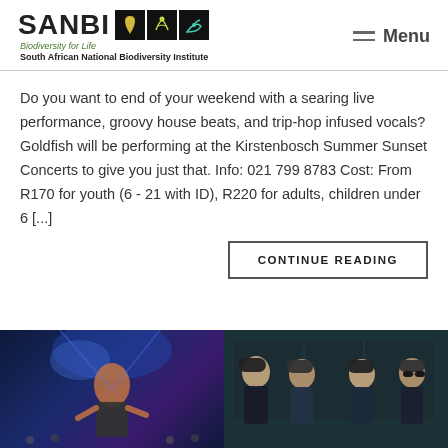[Figure (logo): SANBI logo with 'Biodiversity for Life' tagline and 'South African National Biodiversity Institute' text, with decorative icon boxes showing stylized plant/animal images]
Do you want to end of your weekend with a searing live performance, groovy house beats, and trip-hop infused vocals? Goldfish will be performing at the Kirstenbosch Summer Sunset Concerts to give you just that. Info: 021 799 8783 Cost: From R170 for youth (6 - 21 with ID), R220 for adults, children under 6 [...]
CONTINUE READING
[Figure (photo): Two side-by-side photos: left photo shows a performer on stage under blue/purple lighting, right photo shows a group of four young men wearing hats posing together]